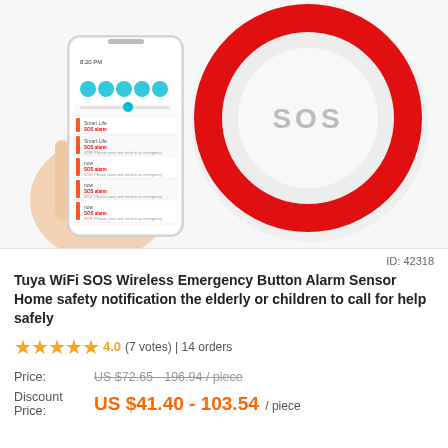[Figure (photo): Product photo showing a white circular SOS alarm button with red ring border and 'SOS' text on top, alongside a hand holding a smartphone displaying the app with SOS alarm notifications.]
ID: 42318
Tuya WiFi SOS Wireless Emergency Button Alarm Sensor Home safety notification the elderly or children to call for help safely
★★★★★ 4.0 (7 votes) | 14 orders
Price: US $72.65 - 196.94 / piece
Discount Price: US $41.40 - 103.54 / piece